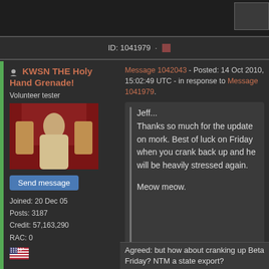[Figure (screenshot): Top portion of a forum post with an image thumbnail in the upper right]
ID: 1041979 · ▪
KWSN THE Holy Hand Grenade!
Volunteer tester
[Figure (photo): Avatar image showing a person or figure in robes against a red background]
Send message
Joined: 20 Dec 05
Posts: 3187
Credit: 57,163,290
RAC: 0
Message 1042043 - Posted: 14 Oct 2010, 15:02:49 UTC - in response to Message 1041979.
Jeff...
Thanks so much for the update on mork. Best of luck on Friday when you crank back up and he will be heavily stressed again.

Meow meow.
Agreed: but how about cranking up Beta Friday? NTM a state export?